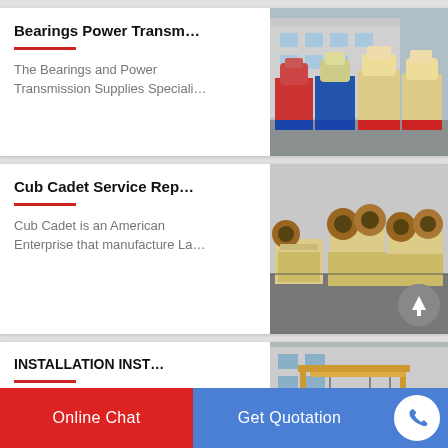Bearings Power Transm…
The Bearings and Power Transmission Supplies Speciali…
[Figure (photo): Industrial crusher/cone machinery in red and blue colors in a factory yard]
Cub Cadet Service Rep…
Cub Cadet is an American Enterprise that manufacture La…
[Figure (photo): Industrial jaw crusher machinery in beige color in factory yard]
INSTALLATION INST…
subject to rapid seal and bearing
[Figure (photo): Industrial gantry/overhead crane equipment with large wheels outdoors]